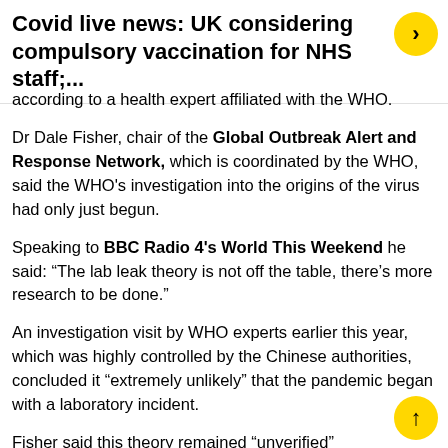Covid live news: UK considering compulsory vaccination for NHS staff;...
according to a health expert affiliated with the WHO.
Dr Dale Fisher, chair of the Global Outbreak Alert and Response Network, which is coordinated by the WHO, said the WHO's investigation into the origins of the virus had only just begun.
Speaking to BBC Radio 4's World This Weekend he said: “The lab leak theory is not off the table, there’s more research to be done.”
An investigation visit by WHO experts earlier this year, which was highly controlled by the Chinese authorities, concluded it “extremely unlikely” that the pandemic began with a laboratory incident.
Fisher said this theory remained “unverified” despite a report, based on US intelligence, which claimed three